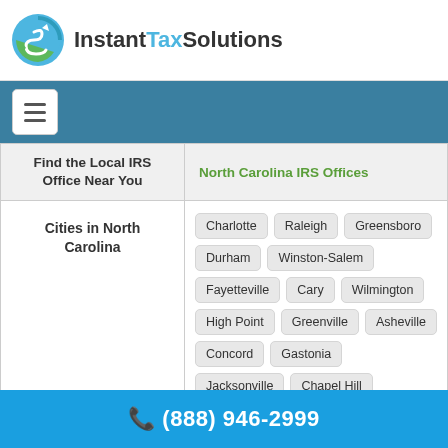[Figure (logo): InstantTaxSolutions logo with circular green and blue icon and bold text]
[Figure (screenshot): Navigation bar with hamburger menu button on teal/dark blue background]
| Find the Local IRS Office Near You | North Carolina IRS Offices |
| --- | --- |
| Cities in North Carolina | Charlotte, Raleigh, Greensboro, Durham, Winston-Salem, Fayetteville, Cary, Wilmington, High Point, Greenville, Asheville, Concord, Gastonia, Jacksonville, Chapel Hill, Rocky Mount, Burlington, Huntersville, Wilson, Kannapolis, Apex, Hickory |
(888) 946-2999